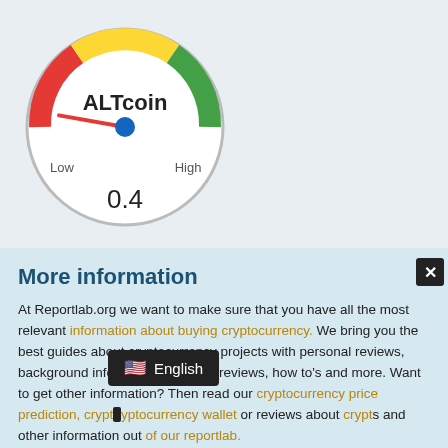[Figure (other): Gauge/speedometer dial showing ALTcoin score. Red arc on left (Low), yellow arc on top, green arc on right (High). Needle pointing left-of-center at approximately 0.4. Blue circle at needle pivot. Labels: 'ALTcoin', 'Low', 'High', '0.4'.]
More information
At Reportlab.org we want to make sure that you have all the most relevant information about buying cryptocurrency. We bring you the best guides about cryptocurrency projects with personal reviews, background information, platform reviews, how to's and more. Want to get other information? Then read our cryptocurrency price prediction, cryptocurrency wallet or reviews about cryptocurrency and other information out of our reportlab.